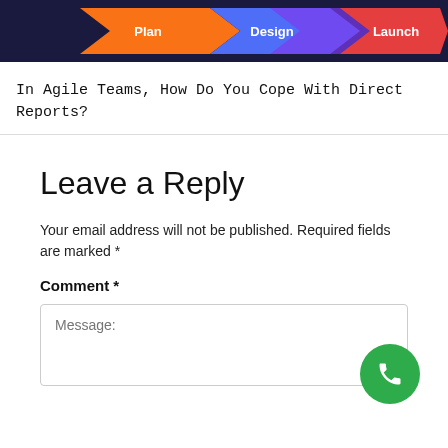[Figure (infographic): Dark navy background banner showing arrow/chevron shapes in orange, blue, purple, and red colors with white text labels: Plan, Design, Launch]
In Agile Teams, How Do You Cope With Direct Reports?
Leave a Reply
Your email address will not be published. Required fields are marked *
Comment *
Message: